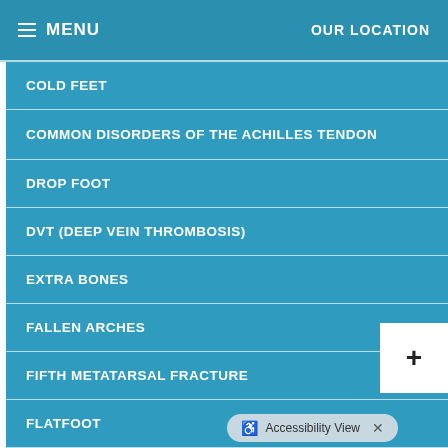MENU  OUR LOCATION
COLD FEET
COMMON DISORDERS OF THE ACHILLES TENDON
DROP FOOT
DVT (DEEP VEIN THROMBOSIS)
EXTRA BONES
FALLEN ARCHES
FIFTH METATARSAL FRACTURE
FLATFOOT
FOOT ARTHRITIS